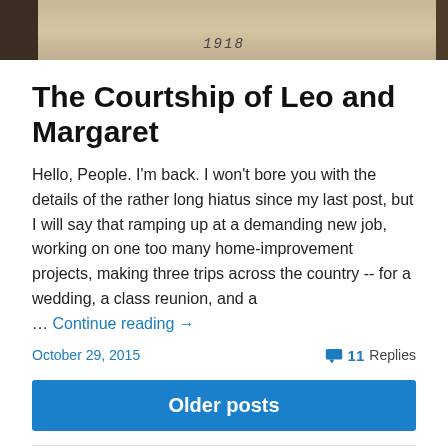[Figure (photo): Sepia-toned historical photograph strip with '1918' handwritten in the center, dark borders on left and right sides.]
The Courtship of Leo and Margaret
Hello, People. I'm back. I won't bore you with the details of the rather long hiatus since my last post, but I will say that ramping up at a demanding new job, working on one too many home-improvement projects, making three trips across the country -- for a wedding, a class reunion, and a … Continue reading →
October 29, 2015
11 Replies
Older posts